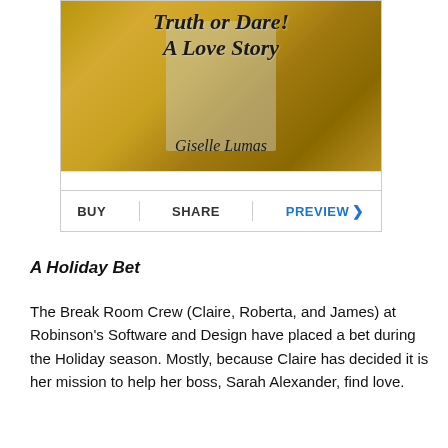[Figure (illustration): Book cover for 'Truth or Dare: A Love Story' by Giselle Lumas with a gold background and script title text, shown inside a widget with BUY, SHARE, and PREVIEW buttons below.]
A Holiday Bet
The Break Room Crew (Claire, Roberta, and James) at Robinson's Software and Design have placed a bet during the Holiday season. Mostly, because Claire has decided it is her mission to help her boss, Sarah Alexander, find love.